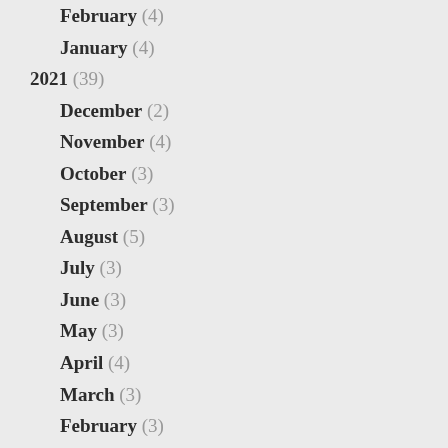February (4)
January (4)
2021 (39)
December (2)
November (4)
October (3)
September (3)
August (5)
July (3)
June (3)
May (3)
April (4)
March (3)
February (3)
January (3)
2020 (46)
December (5)
November (5)
October (3)
September (4)
August (3)
July (5)